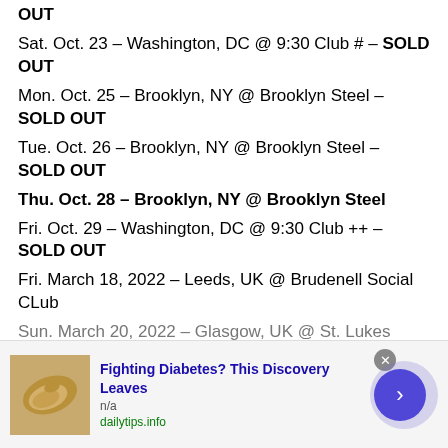OUT
Sat. Oct. 23 – Washington, DC @ 9:30 Club # – SOLD OUT
Mon. Oct. 25 – Brooklyn, NY @ Brooklyn Steel – SOLD OUT
Tue. Oct. 26 – Brooklyn, NY @ Brooklyn Steel – SOLD OUT
Thu. Oct. 28 – Brooklyn, NY @ Brooklyn Steel
Fri. Oct. 29 – Washington, DC @ 9:30 Club ++ – SOLD OUT
Fri. March 18, 2022 – Leeds, UK @ Brudenell Social CLub
Sun. March 20, 2022 – Glasgow, UK @ St. Lukes
[Figure (infographic): Advertisement banner: cashew nut image on left, text 'Fighting Diabetes? This Discovery Leaves' in bold blue, 'n/a' below, 'dailytips.info' in green, close button (X) top right, purple circular arrow button on right. Overlay ad bar at bottom of page.]